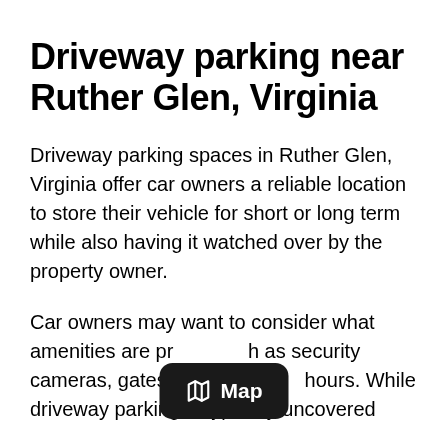Driveway parking near Ruther Glen, Virginia
Driveway parking spaces in Ruther Glen, Virginia offer car owners a reliable location to store their vehicle for short or long term while also having it watched over by the property owner.
Car owners may want to consider what amenities are provided such as security cameras, gates and hours. While driveway parking is typically uncovered
[Figure (other): A dark rounded rectangle button labeled 'Map' with a map/book icon, overlaid on the text]